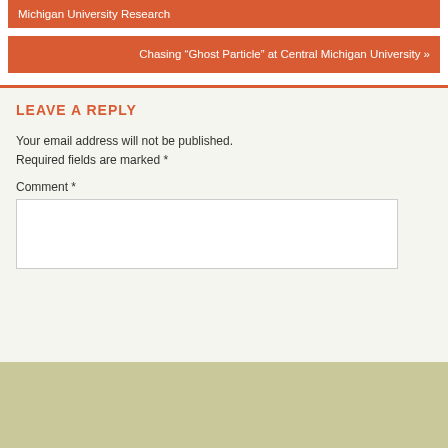Uncovering Axonal Blast Injury Detection Western Michigan University Research
Chasing “Ghost Particle” at Central Michigan University »
LEAVE A REPLY
Your email address will not be published. Required fields are marked *
Comment *